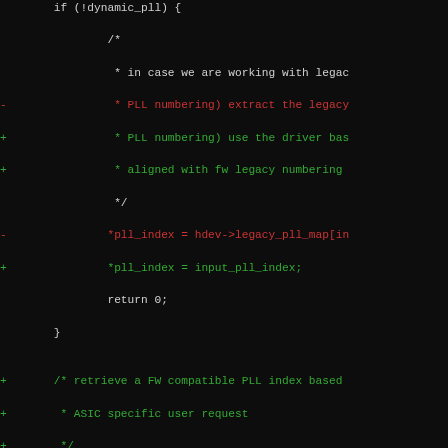[Figure (screenshot): Code diff screenshot showing a C source file with removed lines (red, prefixed with -) and added lines (green, prefixed with +) on a black background. The code relates to PLL (Phase-Locked Loop) index mapping in a hardware driver.]